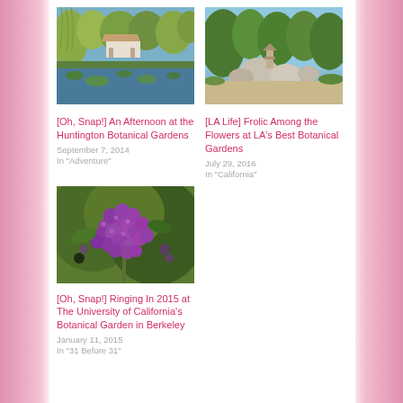[Figure (photo): Botanical garden with pond, lily pads, and trees reflected in water]
[Oh, Snap!] An Afternoon at the Huntington Botanical Gardens
September 7, 2014
In "Adventure"
[Figure (photo): Botanical garden with rocks, boulders, trees, and blue sky]
[LA Life] Frolic Among the Flowers at LA's Best Botanical Gardens
July 29, 2016
In "California"
[Figure (photo): Close-up of purple berry clusters on a plant]
[Oh, Snap!] Ringing In 2015 at The University of California's Botanical Garden in Berkeley
January 11, 2015
In "31 Before 31"